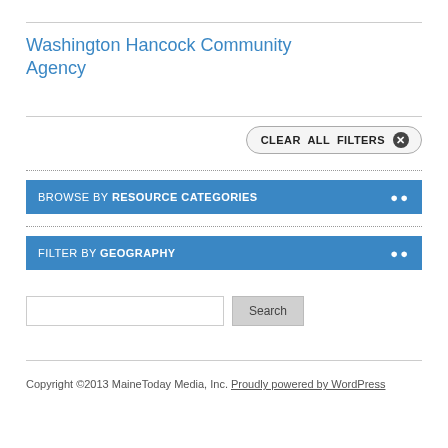Washington Hancock Community Agency
CLEAR ALL FILTERS ⊗
BROWSE BY RESOURCE CATEGORIES
FILTER BY GEOGRAPHY
Search
Copyright ©2013 MaineToday Media, Inc. Proudly powered by WordPress